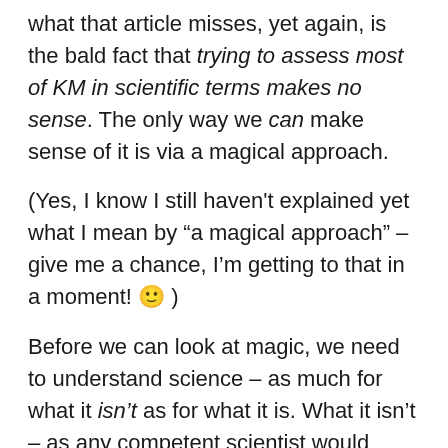what that article misses, yet again, is the bald fact that trying to assess most of KM in scientific terms makes no sense. The only way we can make sense of it is via a magical approach.
(Yes, I know I still haven't explained yet what I mean by "a magical approach" – give me a chance, I'm getting to that in a moment! 🙂 )
Before we can look at magic, we need to understand science – as much for what it isn't as for what it is. What it isn't – as any competent scientist would admit – is "the answer to Life, The Universe, Everything". Instead, it's a particular body of knowledge, developed in terms of a specific set of methods and assumptions, and